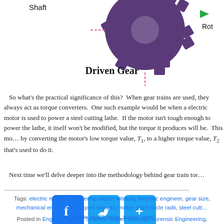[Figure (illustration): Diagram showing a purple driven gear with 'Shaft' label on the left and 'Rot' (rotation arrow) on the right, with pink dashed lines indicating contact points.]
Driven Gear
So what's the practical significance of this?  When gear trains are used, they always act as torque converters.  One such example would be when an electric motor is used to power a steel cutting lathe.  If the motor isn't tough enough to power the lathe, it itself won't be modified, but the torque it produces will be.  This modification is done by converting the motor's low torque value, T1, to a higher torque value, T2, and a gear train is what's used to do it.
Next time we'll delve deeper into the methodology behind gear train tor…
Tags: electric motor, engineering expert witness, forensic engineer, gear size, mechanical engineering expert witness, motor, pitch circle radii, steel cutting, torque modification, torque ratio
Posted in Engineering and Science, Expert Witness, Forensic Engineering, Personal Injury, Product Liability | Comment…